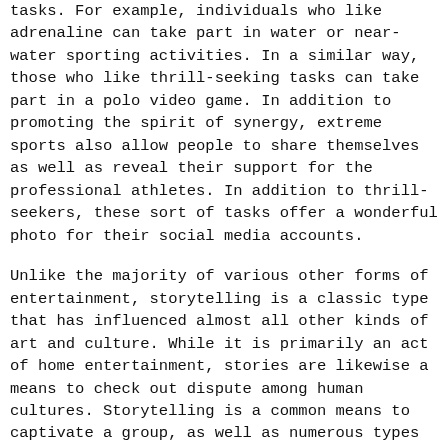tasks. For example, individuals who like adrenaline can take part in water or near-water sporting activities. In a similar way, those who like thrill-seeking tasks can take part in a polo video game. In addition to promoting the spirit of synergy, extreme sports also allow people to share themselves as well as reveal their support for the professional athletes. In addition to thrill-seekers, these sort of tasks offer a wonderful photo for their social media accounts.
Unlike the majority of various other forms of entertainment, storytelling is a classic type that has influenced almost all other kinds of art and culture. While it is primarily an act of home entertainment, stories are likewise a means to check out dispute among human cultures. Storytelling is a common means to captivate a group, as well as numerous types have included illustrations of the events, or narrated by the author. Several of these stories have actually been enhanced by a number of artists, frequently to an incredibly high imaginative requirement.
Apart from giving work for many people, the entertainment